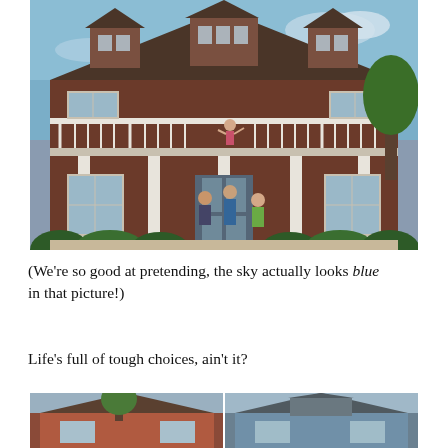[Figure (photo): Large house with white balcony railing and columns on porch. Brown/red brick exterior with dormers on roof. People visible on balcony and front porch steps. Blue sky background.]
(We're so good at pretending, the sky actually looks blue in that picture!)
Life's full of tough choices, ain't it?
[Figure (photo): Bottom portion of a composite image showing two houses side by side — one with red/orange siding on the left and one with gray/blue siding on the right.]